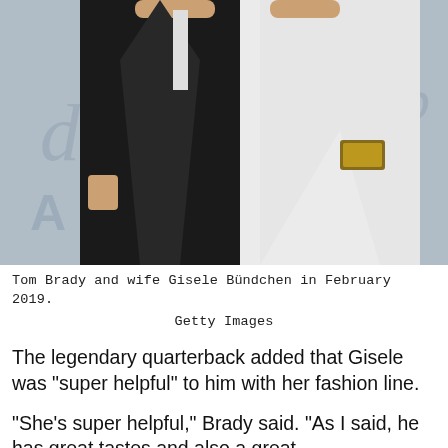[Figure (photo): Tom Brady in a black suit and Gisele Bündchen in a white dress/cape at an event, posing in front of a branded backdrop, February 2019.]
Tom Brady and wife Gisele Bündchen in February 2019.
Getty Images
The legendary quarterback added that Gisele was “super helpful” to him with her fashion line.
“She’s super helpful,” Brady said. “As I said, he has great tastes and also a great